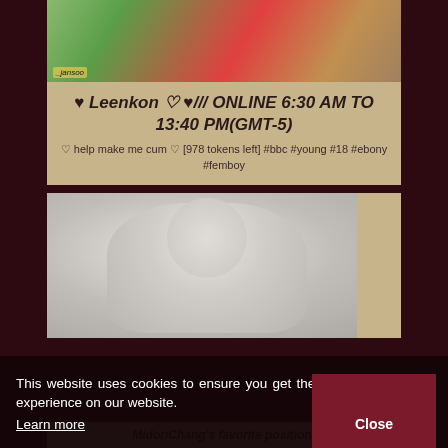[Figure (photo): Top card image showing person in green and red floral dress]
♥︎ Leenkon ♡ ♥/// ONLINE 6:30 AM TO 13:40 PM(GMT-5)
♡ help make me cum ♡ [978 tokens left] #bbc #young #18 #ebony #femboy
[Figure (photo): Second card showing grayscale figure photo]
This website uses cookies to ensure you get the best experience on our website.
Learn more
MidoriChang's favorite position: